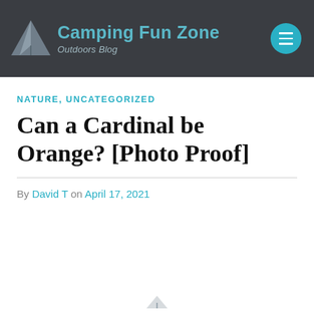Camping Fun Zone — Outdoors Blog
NATURE, UNCATEGORIZED
Can a Cardinal be Orange? [Photo Proof]
By David T on April 17, 2021